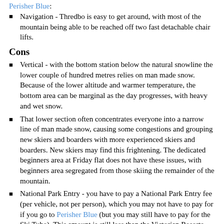Navigation - Thredbo is easy to get around, with most of the mountain being able to be reached off two fast detachable chair lifts.
Cons
Vertical - with the bottom station below the natural snowline the lower couple of hundred metres relies on man made snow. Because of the lower altitude and warmer temperature, the bottom area can be marginal as the day progresses, with heavy and wet snow.
That lower section often concentrates everyone into a narrow line of man made snow, causing some congestions and grouping new skiers and boarders with more experienced skiers and boarders. New skiers may find this frightening. The dedicated beginners area at Friday flat does not have these issues, with beginners area segregated from those skiing the remainder of the mountain.
National Park Entry - you have to pay a National Park Entry fee (per vehicle, not per person), which you may not have to pay for if you go to Perisher Blue (but you may still have to pay for the Ski Tube). This amount is still less than the Victorian Resorts.
Contacts